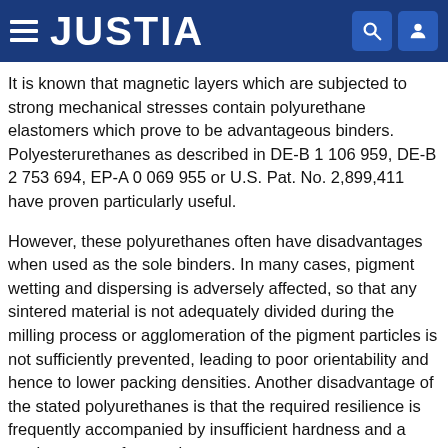JUSTIA
It is known that magnetic layers which are subjected to strong mechanical stresses contain polyurethane elastomers which prove to be advantageous binders. Polyesterurethanes as described in DE-B 1 106 959, DE-B 2 753 694, EP-A 0 069 955 or U.S. Pat. No. 2,899,411 have proven particularly useful.
However, these polyurethanes often have disadvantages when used as the sole binders. In many cases, pigment wetting and dispersing is adversely affected, so that any sintered material is not adequately divided during the milling process or agglomeration of the pigment particles is not sufficiently prevented, leading to poor orientability and hence to lower packing densities. Another disadvantage of the stated polyurethanes is that the required resilience is frequently accompanied by insufficient hardness and a tendency to surface tack.